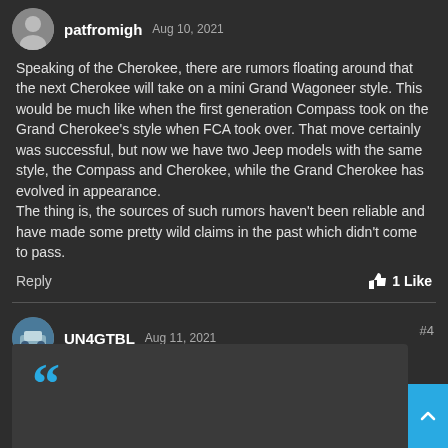patfromigh Aug 10, 2021
Speaking of the Cherokee, there are rumors floating around that the next Cherokee will take on a mini Grand Wagoneer style. This would be much like when the first generation Compass took on the Grand Cherokee's style when FCA took over. That move certainly was successful, but now we have two Jeep models with the same style, the Compass and Cherokee, while the Grand Cherokee has evolved in appearance.
The thing is, the sources of such rumors haven't been reliable and have made some pretty wild claims in the past which didn't come to pass.
Reply
👍 1 Like
UN4GTBL Aug 11, 2021
#4
[Figure (other): Quote block with large blue quotation mark symbol]